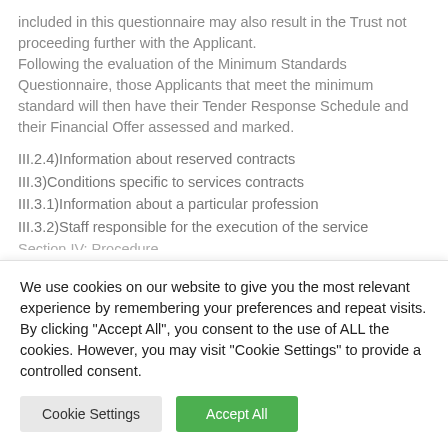included in this questionnaire may also result in the Trust not proceeding further with the Applicant. Following the evaluation of the Minimum Standards Questionnaire, those Applicants that meet the minimum standard will then have their Tender Response Schedule and their Financial Offer assessed and marked.
III.2.4)Information about reserved contracts
III.3)Conditions specific to services contracts
III.3.1)Information about a particular profession
III.3.2)Staff responsible for the execution of the service
We use cookies on our website to give you the most relevant experience by remembering your preferences and repeat visits. By clicking "Accept All", you consent to the use of ALL the cookies. However, you may visit "Cookie Settings" to provide a controlled consent.